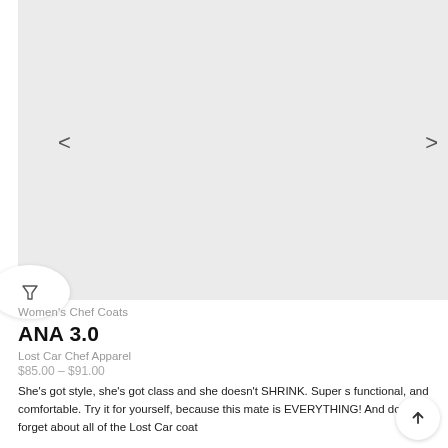[Figure (other): Product image carousel area with light gray background, left arrow navigation and right arrow navigation]
Women's Chef Coats
ANA 3.0
Lost Car Chef Apparel
$85.00 – $91.00
She's got style, she's got class and she doesn't SHRINK. Super s functional, and comfortable. Try it for yourself, because this mate is EVERYTHING! And don't forget about all of the Lost Car coat